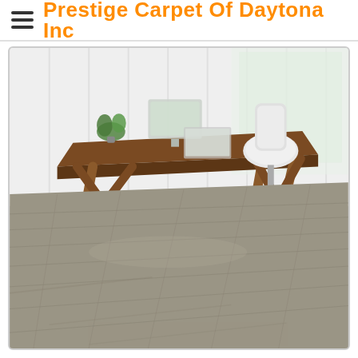Prestige Carpet Of Daytona Inc
[Figure (photo): Office or showroom interior with a modern wood desk and white office chair on grey/taupe luxury vinyl plank flooring, viewed from a low angle showing the floor in the foreground. White paneled walls with windows in background, potted plant on desk.]